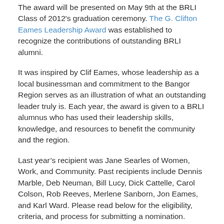The award will be presented on May 9th at the BRLI Class of 2012's graduation ceremony. The G. Clifton Eames Leadership Award was established to recognize the contributions of outstanding BRLI alumni.
It was inspired by Clif Eames, whose leadership as a local businessman and commitment to the Bangor Region serves as an illustration of what an outstanding leader truly is. Each year, the award is given to a BRLI alumnus who has used their leadership skills, knowledge, and resources to benefit the community and the region.
Last year's recipient was Jane Searles of Women, Work, and Community. Past recipients include Dennis Marble, Deb Neuman, Bill Lucy, Dick Cattelle, Carol Colson, Rob Reeves, Merlene Sanborn, Jon Eames, and Karl Ward. Please read below for the eligibility, criteria, and process for submitting a nomination.
ELIGIBILITY & CRITERIA